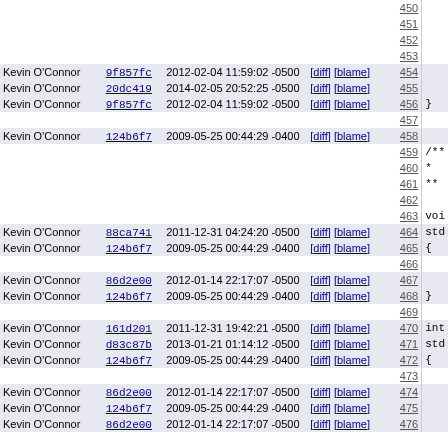| Author | Hash | Date | Links | Line | Code |
| --- | --- | --- | --- | --- | --- |
|  |  |  |  | 450 |  |
|  |  |  |  | 451 |  |
|  |  |  |  | 452 |  |
|  |  |  |  | 453 |  |
| Kevin O'Connor | 9f857fc | 2012-02-04 11:59:02 -0500 | [diff] [blame] | 454 |  |
| Kevin O'Connor | 20dc419 | 2014-02-05 20:52:25 -0500 | [diff] [blame] | 455 |  |
| Kevin O'Connor | 9f857fc | 2012-02-04 11:59:02 -0500 | [diff] [blame] | 456 | } |
|  |  |  |  | 457 |  |
| Kevin O'Connor | 124b6f7 | 2009-05-25 00:44:29 -0400 | [diff] [blame] | 458 |  |
|  |  |  |  | 459 | /** |
|  |  |  |  | 460 |  * |
|  |  |  |  | 461 |  ** |
|  |  |  |  | 462 |  |
|  |  |  |  | 463 | voi |
| Kevin O'Connor | 88ca741 | 2011-12-31 04:24:20 -0500 | [diff] [blame] | 464 | std |
| Kevin O'Connor | 124b6f7 | 2009-05-25 00:44:29 -0400 | [diff] [blame] | 465 | { |
|  |  |  |  | 466 |  |
| Kevin O'Connor | 86d2e00 | 2012-01-14 22:17:07 -0500 | [diff] [blame] | 467 |  |
| Kevin O'Connor | 124b6f7 | 2009-05-25 00:44:29 -0400 | [diff] [blame] | 468 | } |
|  |  |  |  | 469 |  |
| Kevin O'Connor | 161d201 | 2011-12-31 19:42:21 -0500 | [diff] [blame] | 470 | int |
| Kevin O'Connor | d83c87b | 2013-01-21 01:14:12 -0500 | [diff] [blame] | 471 | std |
| Kevin O'Connor | 124b6f7 | 2009-05-25 00:44:29 -0400 | [diff] [blame] | 472 | { |
|  |  |  |  | 473 |  |
| Kevin O'Connor | 86d2e00 | 2012-01-14 22:17:07 -0500 | [diff] [blame] | 474 |  |
| Kevin O'Connor | 124b6f7 | 2009-05-25 00:44:29 -0400 | [diff] [blame] | 475 |  |
| Kevin O'Connor | 86d2e00 | 2012-01-14 22:17:07 -0500 | [diff] [blame] | 476 |  |